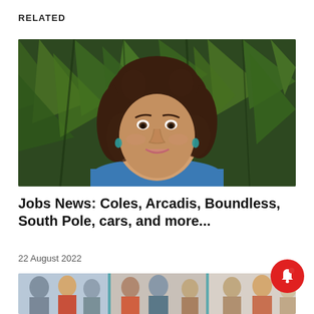RELATED
[Figure (photo): Portrait of a smiling woman with curly brown hair wearing a blue top and teal necklace, standing in front of large green leafy plants]
Jobs News: Coles, Arcadis, Boundless, South Pole, cars, and more...
22 August 2022
[Figure (photo): Partial view of people networking or attending an event, multiple figures visible]